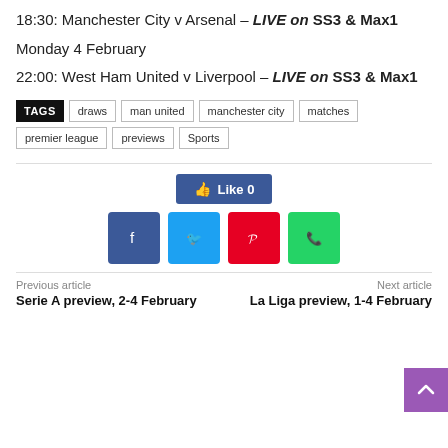18:30: Manchester City v Arsenal – LIVE on SS3 & Max1
Monday 4 February
22:00: West Ham United v Liverpool – LIVE on SS3 & Max1
TAGS: draws, man united, manchester city, matches, premier league, previews, Sports
[Figure (other): Facebook Like button showing Like 0]
[Figure (other): Social sharing buttons: Facebook (blue), Twitter (cyan), Pinterest (red), WhatsApp (green)]
Previous article | Next article
Serie A preview, 2-4 February
La Liga preview, 1-4 February